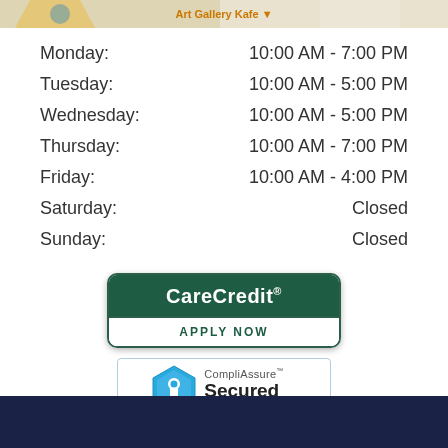[Figure (screenshot): Map strip showing Art Gallery Kafe label]
| Day | Hours |
| --- | --- |
| Monday: | 10:00 AM - 7:00 PM |
| Tuesday: | 10:00 AM - 5:00 PM |
| Wednesday: | 10:00 AM - 5:00 PM |
| Thursday: | 10:00 AM - 7:00 PM |
| Friday: | 10:00 AM - 4:00 PM |
| Saturday: | Closed |
| Sunday: | Closed |
[Figure (logo): CareCredit APPLY NOW button]
[Figure (logo): CompliAssure Secured - Click to Verify badge, powered by Aperia Solutions]